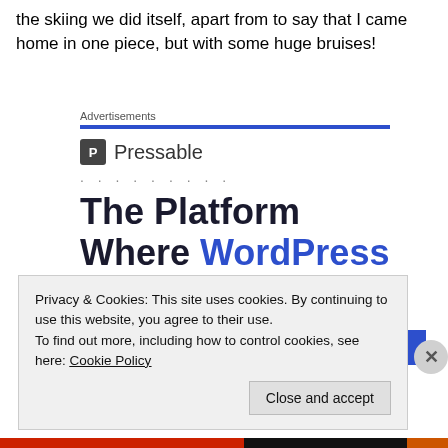the skiing we did itself, apart from to say that I came home in one piece, but with some huge bruises!
[Figure (screenshot): Pressable advertisement banner showing 'The Platform Where WordPress Works Best' with a blue horizontal bar, Pressable logo and name, dotted separator, headline text, and a 'SEE PRICING' button.]
Privacy & Cookies: This site uses cookies. By continuing to use this website, you agree to their use.
To find out more, including how to control cookies, see here: Cookie Policy
Close and accept